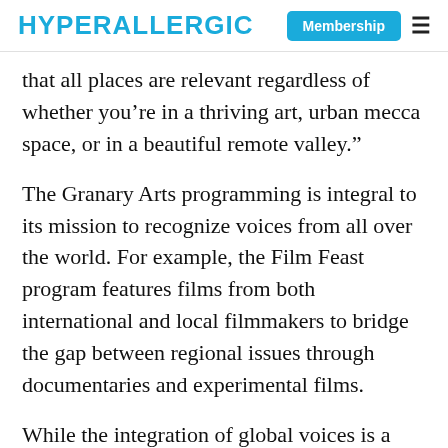HYPERALLERGIC | Membership ☰
that all places are relevant regardless of whether you’re in a thriving art, urban mecca space, or in a beautiful remote valley.”
The Granary Arts programming is integral to its mission to recognize voices from all over the world. For example, the Film Feast program features films from both international and local filmmakers to bridge the gap between regional issues through documentaries and experimental films.
While the integration of global voices is a large